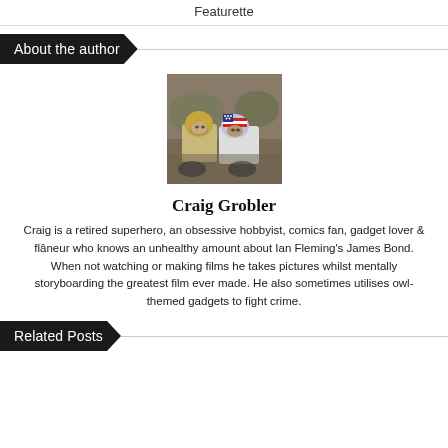Featurette
About the author
[Figure (photo): Craig Grobler author photo — two people riding motorcycles wearing helmets, one with American flag design helmet]
Craig Grobler
Craig is a retired superhero, an obsessive hobbyist, comics fan, gadget lover & flâneur who knows an unhealthy amount about Ian Fleming's James Bond. When not watching or making films he takes pictures whilst mentally storyboarding the greatest film ever made. He also sometimes utilises owl-themed gadgets to fight crime.
Related Posts